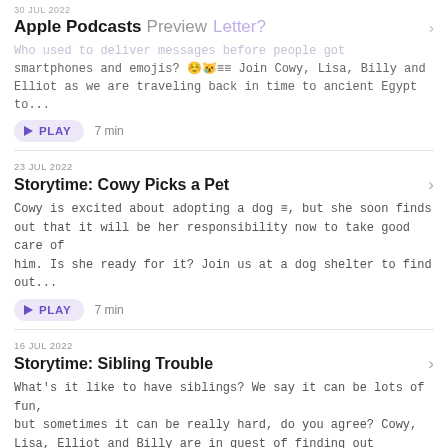Apple Podcasts Preview
30 JUL 2022
Who used to deliver messages before people got smartphones and emojis? 😊😟🗒 Join Cowy, Lisa, Billy and Elliot as we are traveling back in time to ancient Egypt to...
PLAY  7 min
23 JUL 2022
Storytime: Cowy Picks a Pet
Cowy is excited about adopting a dog 🗒, but she soon finds out that it will be her responsibility now to take good care of him. Is she ready for it? Join us at a dog shelter to find out...
PLAY  7 min
16 JUL 2022
Storytime: Sibling Trouble
What's it like to have siblings? We say it can be lots of fun, but sometimes it can be really hard, do you agree? Cowy, Lisa, Elliot and Billy are in quest of finding out about...
PLAY  6 min
Show 10 More Episodes